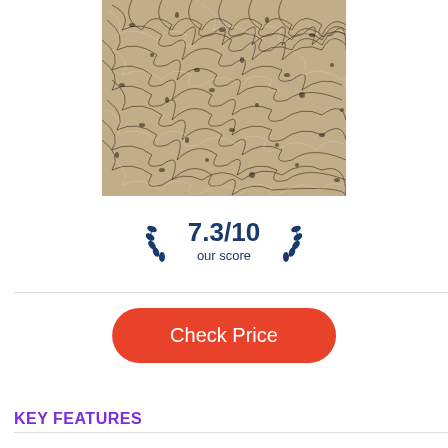[Figure (photo): Close-up photograph of a textured fibrous mat/rug surface with a tangled wire or fiber pattern in beige and dark brown colors]
7.3/10
our score
Check Price
KEY FEATURES